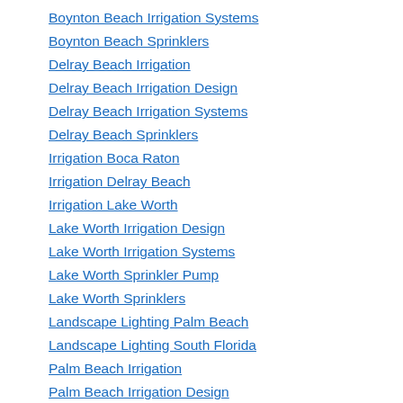Boynton Beach Irrigation Systems
Boynton Beach Sprinklers
Delray Beach Irrigation
Delray Beach Irrigation Design
Delray Beach Irrigation Systems
Delray Beach Sprinklers
Irrigation Boca Raton
Irrigation Delray Beach
Irrigation Lake Worth
Lake Worth Irrigation Design
Lake Worth Irrigation Systems
Lake Worth Sprinkler Pump
Lake Worth Sprinklers
Landscape Lighting Palm Beach
Landscape Lighting South Florida
Palm Beach Irrigation
Palm Beach Irrigation Design
Palm Beach Irrigation Systems
Palm Beach Sprinkler